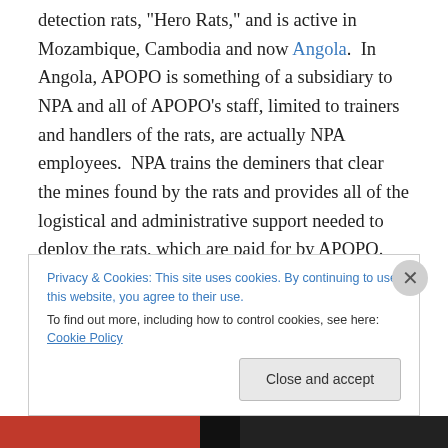detection rats, "Hero Rats," and is active in Mozambique, Cambodia and now Angola.  In Angola, APOPO is something of a subsidiary to NPA and all of APOPO's staff, limited to trainers and handlers of the rats, are actually NPA employees.  NPA trains the deminers that clear the mines found by the rats and provides all of the logistical and administrative support needed to deploy the rats, which are paid for by APOPO.  According to NPA's Country Director in Angola, the rats actually sped up clearance rates in the province where they were used.  Until the end of May, APOPO's work was supported by the
Privacy & Cookies: This site uses cookies. By continuing to use this website, you agree to their use.
To find out more, including how to control cookies, see here: Cookie Policy
Close and accept